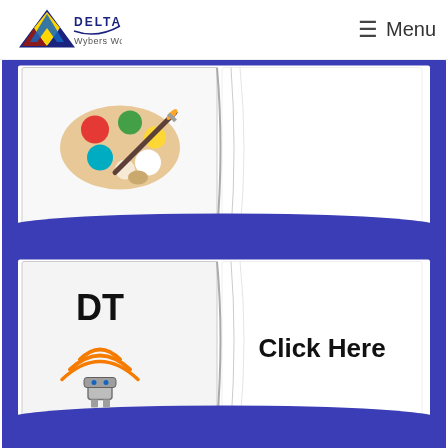Delta Wybers Wood — Menu
[Figure (illustration): Open book illustration with a paint palette and paintbrush on the left page, right page is blank white. Book has blue cover/spine.]
[Figure (illustration): Open book illustration with 'DT' text and a robot/wifi icon on the left page, 'Click Here' text in bold on the right page. Book has blue cover/spine.]